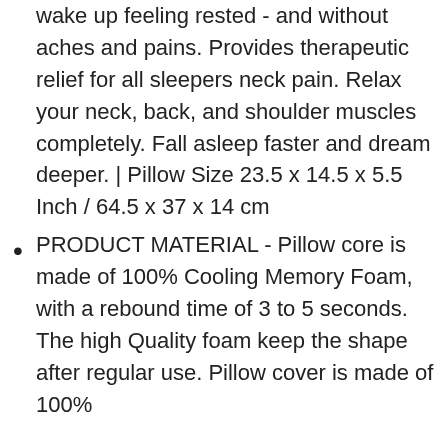wake up feeling rested - and without aches and pains. Provides therapeutic relief for all sleepers neck pain. Relax your neck, back, and shoulder muscles completely. Fall asleep faster and dream deeper. | Pillow Size 23.5 x 14.5 x 5.5 Inch / 64.5 x 37 x 14 cm
PRODUCT MATERIAL - Pillow core is made of 100% Cooling Memory Foam, with a rebound time of 3 to 5 seconds. The high Quality foam keep the shape after regular use. Pillow cover is made of 100%